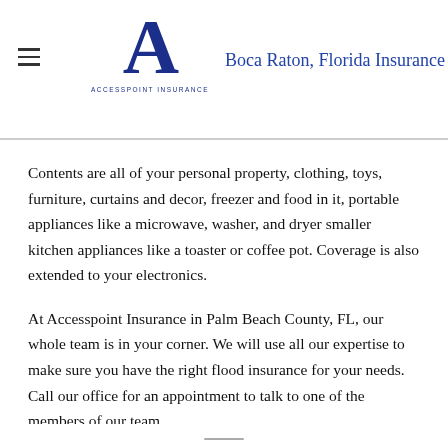Boca Raton, Florida Insurance Agents — Accesspoint Insurance
Contents are all of your personal property, clothing, toys, furniture, curtains and decor, freezer and food in it, portable appliances like a microwave, washer, and dryer smaller kitchen appliances like a toaster or coffee pot. Coverage is also extended to your electronics.
At Accesspoint Insurance in Palm Beach County, FL, our whole team is in your corner. We will use all our expertise to make sure you have the right flood insurance for your needs. Call our office for an appointment to talk to one of the members of our team.